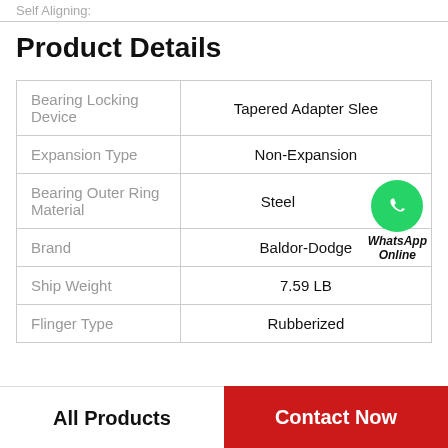Self Aligning:
Product Details
| Property | Value |
| --- | --- |
| Bearing Locking Device | Tapered Adapter Slee |
| Expansion Type | Non-Expansion |
| Bearing Outer Ring Material | Steel |
| Brand | Baldor-Dodge |
| Ship Weight | 7.59 LB |
| Flinger Type | Rubberized |
[Figure (logo): WhatsApp Online green phone icon badge with text WhatsApp Online]
All Products
Contact Now